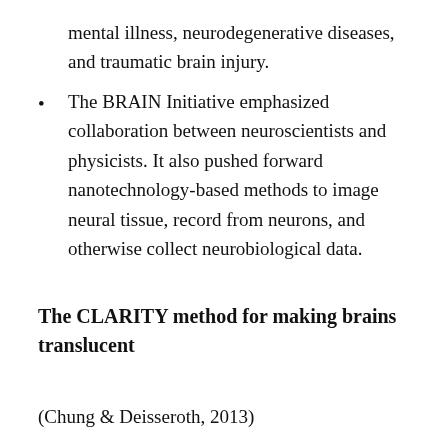mental illness, neurodegenerative diseases, and traumatic brain injury.
The BRAIN Initiative emphasized collaboration between neuroscientists and physicists. It also pushed forward nanotechnology-based methods to image neural tissue, record from neurons, and otherwise collect neurobiological data.
The CLARITY method for making brains translucent
(Chung & Deisseroth, 2013)